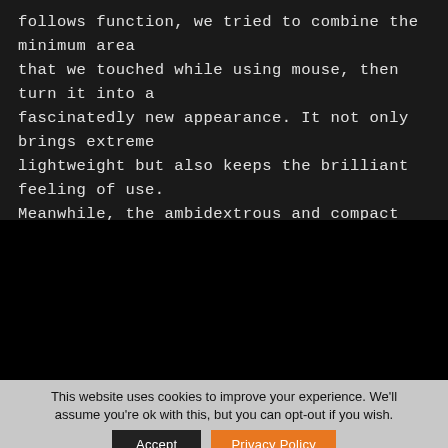follows function, we tried to combine the minimum area that we touched while using mouse, then turn it into a fascinatedly new appearance. It not only brings extreme lightweight but also keeps the brilliant feeling of use. Meanwhile, the ambidextrous and compact design are more suitable for claw grip styles. For those who like lightweight mouse, AIRBLADER brings a smoothly control with high precision and a whole new design that nobody has seen before.
[Figure (photo): Dark/black image area, likely showing a product image (mouse) on a black background]
This website uses cookies to improve your experience. We'll assume you're ok with this, but you can opt-out if you wish.
Accept
Privacy Policy